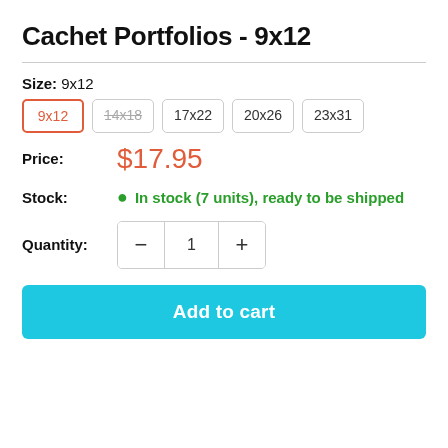Cachet Portfolios - 9x12
Size: 9x12
Size options: 9x12 (selected), 14x18 (unavailable), 17x22, 20x26, 23x31
Price: $17.95
Stock: In stock (7 units), ready to be shipped
Quantity: 1
Add to cart